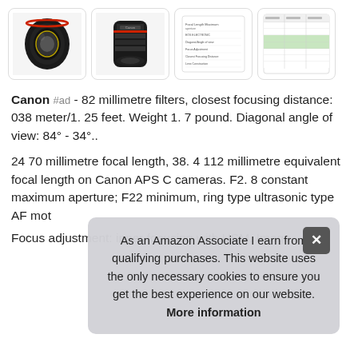[Figure (photo): Four thumbnail images: two photos of a Canon camera lens (front and side views), one image of a product specification sheet, and one image of a comparison table with green highlighted row.]
Canon #ad - 82 millimetre filters, closest focusing distance: 038 meter/1. 25 feet. Weight 1. 7 pound. Diagonal angle of view: 84° - 34°..
24 70 millimetre focal length, 38. 4 112 millimetre equivalent focal length on Canon APS C cameras. F2. 8 constant maximum aperture; F22 minimum, ring type ultrasonic type AF mot
As an Amazon Associate I earn from qualifying purchases. This website uses the only necessary cookies to ensure you get the best experience on our website. More information
Focus adjustment: inner focusing with USM. Image